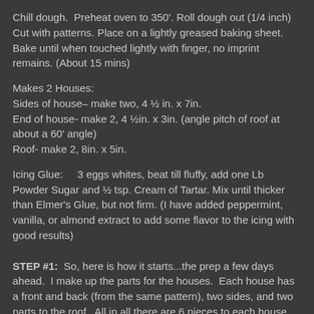Chill dough.  Preheat oven to 350'. Roll dough out (1/4 inch) Cut with patterns. Place on a lightly greased baking sheet. Bake until when touched lightly with finger, no imprint remains. (About 15 mins)
Makes 2 Houses:
Sides of house– make two, 4 ½ in. x 7in.
End of house- make 2, 4 ½in. x 3in. (angle pitch of roof at about a 60' angle)
Roof- make 2, 8in. x 5in.
Icing Glue:     3 eggs whites, beat till fluffy, add one Lb Powder Sugar and ½ tsp. Cream of Tartar. Mix until thicker than Elmer's Glue, but not firm. (I have added peppermint, vanilla, or almond extract to add some flavor to the icing with good results)
STEP #1:  So, here is how it starts...the prep a few days ahead.  I make up the parts for the houses.  Each house has a front and back (from the same pattern), two sides, and two parts to the roof.  All in all there are 6 pieces to each house with 3 patterns (2...